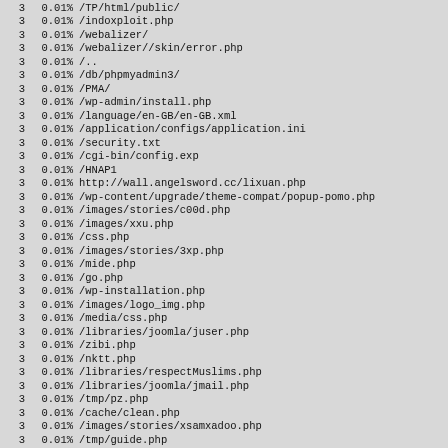| count | percent | path |
| --- | --- | --- |
| 3 | 0.01% | /TP/html/public/ |
| 3 | 0.01% | /indoxploit.php |
| 3 | 0.01% | /webalizer/ |
| 3 | 0.01% | /webalizer//skin/error.php |
| 3 | 0.01% | /.. |
| 3 | 0.01% | /db/phpmyadmin3/ |
| 3 | 0.01% | /PMA/ |
| 3 | 0.01% | /wp-admin/install.php |
| 3 | 0.01% | /language/en-GB/en-GB.xml |
| 3 | 0.01% | /application/configs/application.ini |
| 3 | 0.01% | /security.txt |
| 3 | 0.01% | /cgi-bin/config.exp |
| 3 | 0.01% | /HNAP1 |
| 3 | 0.01% | http://wall.angelsword.cc/lixuan.php |
| 3 | 0.01% | /wp-content/upgrade/theme-compat/popup-pomo.php |
| 3 | 0.01% | /images/stories/c00d.php |
| 3 | 0.01% | /images/xxu.php |
| 3 | 0.01% | /css.php |
| 3 | 0.01% | /images/stories/3xp.php |
| 3 | 0.01% | /mide.php |
| 3 | 0.01% | /go.php |
| 3 | 0.01% | /wp-installation.php |
| 3 | 0.01% | /images/logo_img.php |
| 3 | 0.01% | /media/css.php |
| 3 | 0.01% | /libraries/joomla/juser.php |
| 3 | 0.01% | /zibi.php |
| 3 | 0.01% | /nktt.php |
| 3 | 0.01% | /libraries/respectMuslims.php |
| 3 | 0.01% | /libraries/joomla/jmail.php |
| 3 | 0.01% | /tmp/pz.php |
| 3 | 0.01% | /cache/clean.php |
| 3 | 0.01% | /images/stories/xsamxadoo.php |
| 3 | 0.01% | /tmp/guide.php |
| 3 | 0.01% | /ws0.php |
| 3 | 0.01% | /media/jmail.php |
| 3 | 0.01% | /bin/logo_img.php |
| 3 | 0.01% | /wp-includes/upgrade/theme-compat/popup-pomo.php |
| 3 | 0.01% | /media/jmails.php |
| 3 | 0.01% | /images/stories/gh.php |
| 3 | 0.01% | /xup.php |
| 3 | 0.01% | /images/stories/filomga.php |